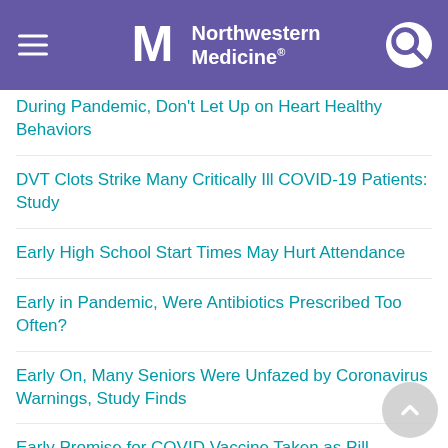Northwestern Medicine
During Pandemic, Don't Let Up on Heart Healthy Behaviors
DVT Clots Strike Many Critically Ill COVID-19 Patients: Study
Early High School Start Times May Hurt Attendance
Early in Pandemic, Were Antibiotics Prescribed Too Often?
Early On, Many Seniors Were Unfazed by Coronavirus Warnings, Study Finds
Early Promise for COVID Vaccine Taken as Pill
Early Promise for Therapy Against Duchenne Muscular Dystrophy
Early Results Show Moderna's COVID Vaccine